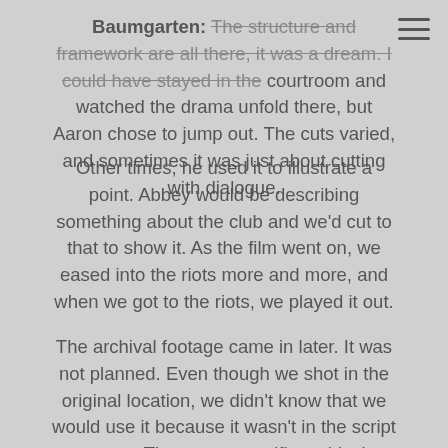Baumgarten: The structure and framework are all there, it was a dream. I could have stayed in the courtroom and watched the drama unfold there, but Aaron chose to jump out. The cuts varied, and sometimes it was just about cutting with dialogue.
Other times, he used it to illustrate a point. Abbey would be describing something about the club and we'd cut to that to show it. As the film went on, we eased into the riots more and more, and when we got to the riots, we played it out.
The archival footage came in later. It was not planned. Even though we shot in the original location, we didn't know that we would use it because it wasn't in the script per se. There was specific archival